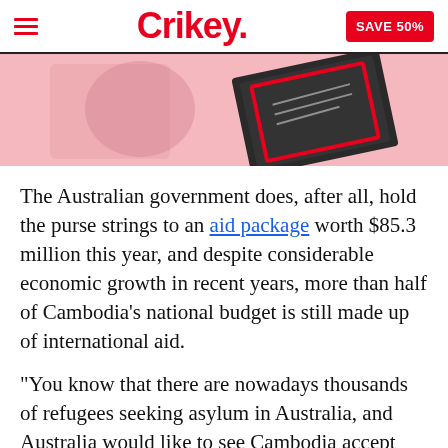Crikey.  SAVE 50%
[Figure (illustration): Pink banner with a dark envelope graphic on a pink background]
The Australian government does, after all, hold the purse strings to an aid package worth $85.3 million this year, and despite considerable economic growth in recent years, more than half of Cambodia's national budget is still made up of international aid.
“You know that there are nowadays thousands of refugees seeking asylum in Australia, and Australia would like to see Cambodia accept some of the refugees to be settled in Cambodia,” Cambodian Foreign Minister Hor Namhong told reporters at a